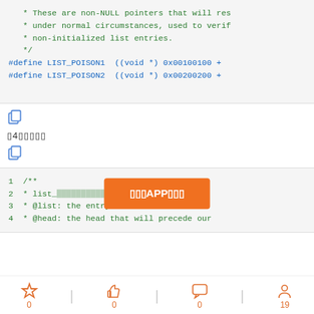* These are non-NULL pointers that will res
 * under normal circumstances, used to verif
 * non-initialized list entries.
 */
#define LIST_POISON1  ((void *) 0x00100100 +
#define LIST_POISON2  ((void *) 0x00200200 +
[Figure (screenshot): Copy icon button]
▯4▯▯▯▯▯
[Figure (screenshot): Copy icon button]
1 /**
2  * list_[obscured by orange button] he list and a
3  * @list: the entry to move
4  * @head: the head that will precede our
[Figure (screenshot): Orange APP download button overlay reading '▯▯▯APP▯▯▯']
0  |  0  |  0  |  19